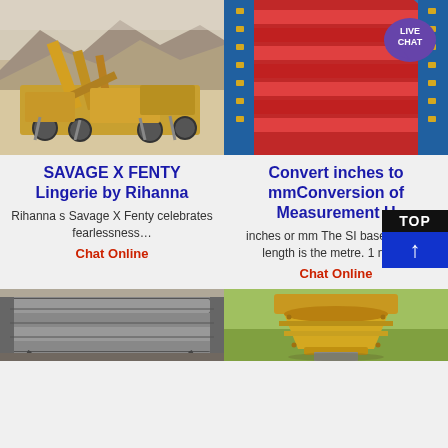[Figure (photo): Yellow mining/crushing machinery in an arid outdoor setting with mountains in background]
[Figure (photo): Red and blue industrial conveyor belt equipment with LIVE CHAT badge overlay]
SAVAGE X FENTY Lingerie by Rihanna
Convert inches to mmConversion of Measurement U
Rihanna s Savage X Fenty celebrates fearlessness…
Chat Online
inches or mm The SI base unit for length is the metre. 1 met…
Chat Online
[Figure (photo): Industrial grey metal vibrating screen or separator equipment inside a building]
[Figure (photo): Yellow cone crusher industrial mining equipment outdoors on grass]